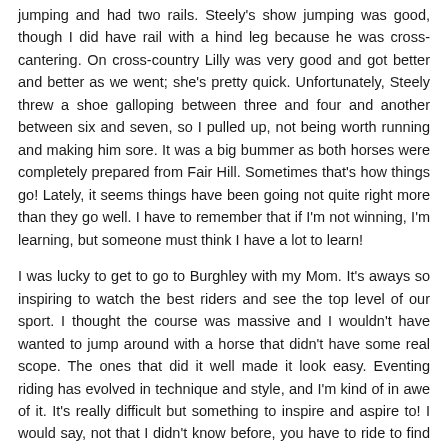jumping and had two rails. Steely's show jumping was good, though I did have rail with a hind leg because he was cross-cantering. On cross-country Lilly was very good and got better and better as we went; she's pretty quick. Unfortunately, Steely threw a shoe galloping between three and four and another between six and seven, so I pulled up, not being worth running and making him sore. It was a big bummer as both horses were completely prepared from Fair Hill. Sometimes that's how things go! Lately, it seems things have been going not quite right more than they go well. I have to remember that if I'm not winning, I'm learning, but someone must think I have a lot to learn!
I was lucky to get to go to Burghley with my Mom. It's aways so inspiring to watch the best riders and see the top level of our sport. I thought the course was massive and I wouldn't have wanted to jump around with a horse that didn't have some real scope. The ones that did it well made it look easy. Eventing riding has evolved in technique and style, and I'm kind of in awe of it. It's really difficult but something to inspire and aspire to! I would say, not that I didn't know before, you have to ride to find it, you can't wait to see your jump. You have to be in good balance, from leg to hand, especially when jumping massive jumps. No